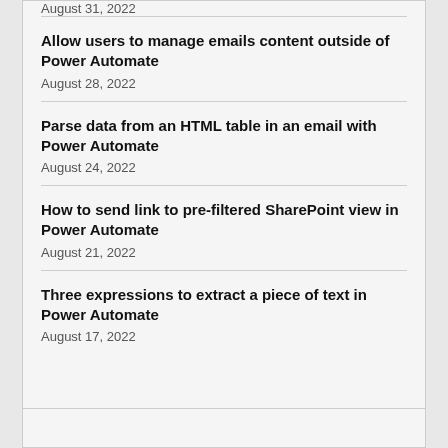August 31, 2022
Allow users to manage emails content outside of Power Automate
August 28, 2022
Parse data from an HTML table in an email with Power Automate
August 24, 2022
How to send link to pre-filtered SharePoint view in Power Automate
August 21, 2022
Three expressions to extract a piece of text in Power Automate
August 17, 2022